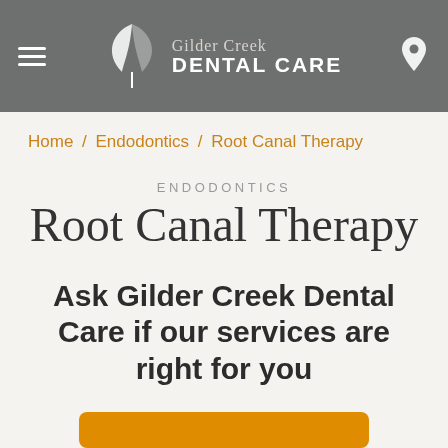Gilder Creek Dental Care
Home / Endodontics / Root Canal Therapy
ENDODONTICS
Root Canal Therapy
Ask Gilder Creek Dental Care if our services are right for you